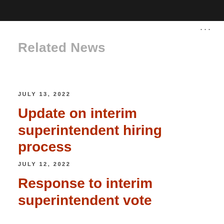...
Related News
JULY 13, 2022
Update on interim superintendent hiring process
JULY 12, 2022
Response to interim superintendent vote